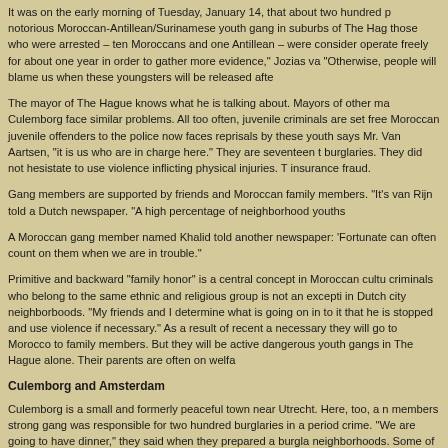It was on the early morning of Tuesday, January 14, that about two hundred p notorious Moroccan-Antillean/Surinamese youth gang in suburbs of The Hag those who were arrested – ten Moroccans and one Antillean – were consider operate freely for about one year in order to gather more evidence," Jozias va "Otherwise, people will blame us when these youngsters will be released afte
The mayor of The Hague knows what he is talking about. Mayors of other ma Culemborg face similar problems. All too often, juvenile criminals are set free Moroccan juvenile offenders to the police now faces reprisals by these youth says Mr. Van Aartsen, "it is us who are in charge here." They are seventeen t burglaries. They did not hesistate to use violence inflicting physical injuries. T insurance fraud.
Gang members are supported by friends and Moroccan family members. "It's van Rijn told a Dutch newspaper. "A high percentage of neighborhood youths
A Moroccan gang member named Khalid told another newspaper: 'Fortunate can often count on them when we are in trouble."
Primitive and backward "family honor" is a central concept in Moroccan cultu criminals who belong to the same ethnic and religious group is not an excepti in Dutch city neighborboods. "My friends and I determine what is going on in to it that he is stopped and use violence if necessary." As a result of recent a necessary they will go to Morocco to family members. But they will be active dangerous youth gangs in The Hague alone. Their parents are often on welfa
Culemborg and Amsterdam
Culemborg is a small and formerly peaceful town near Utrecht. Here, too, a n members strong gang was responsible for two hundred burglaries in a period crime. "We are going to have dinner," they said when they prepared a burgla neighborhoods. Some of these victims were so scared that they reported crin to avoid reprisals by gang members. Reprisals such as setting cars on fire...